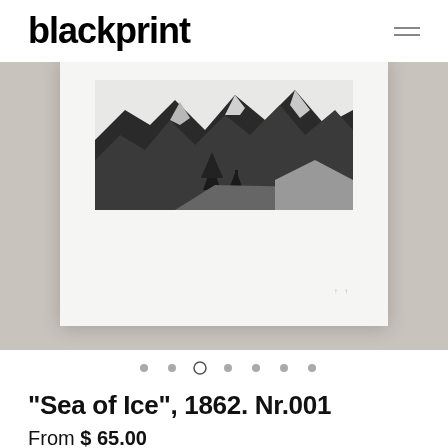blackprint
[Figure (photo): A black and white photographic art print showing a mountain landscape with jagged rocky peaks, snow, and trees in the foreground. The print is displayed in a large white mat/frame, photographed on a gray surface.]
• • ○ • • • •
“Sea of Ice”, 1862. Nr.001
From $ 65.00
In “Mer de Glace” is the biggest glacier in Europe and the